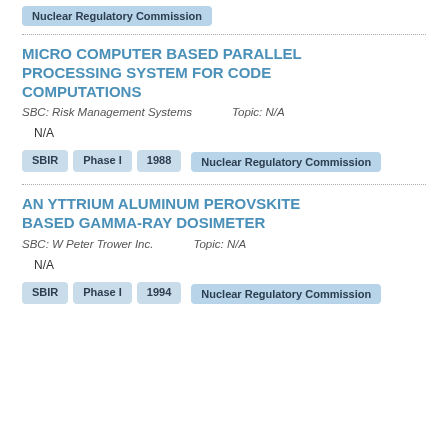Nuclear Regulatory Commission
MICRO COMPUTER BASED PARALLEL PROCESSING SYSTEM FOR CODE COMPUTATIONS
SBC: Risk Management Systems   Topic: N/A
N/A
SBIR  Phase I  1988  Nuclear Regulatory Commission
AN YTTRIUM ALUMINUM PEROVSKITE BASED GAMMA-RAY DOSIMETER
SBC: W Peter Trower Inc.   Topic: N/A
N/A
SBIR  Phase I  1994  Nuclear Regulatory Commission